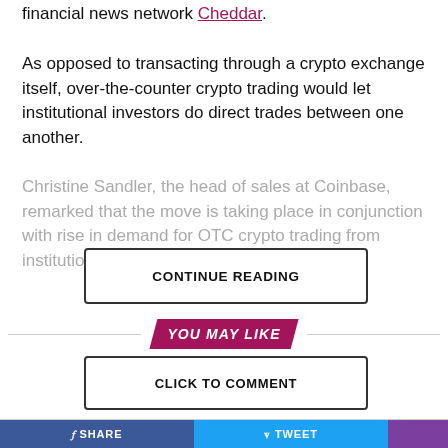financial news network Cheddar.
As opposed to transacting through a crypto exchange itself, over-the-counter crypto trading would let institutional investors do direct trades between one another.
Christine Sandler, the head of sales at Coinbase, remarked that the move is taking place in conjunction with rise in demand for OTC crypto trading from institutional players ... OTC ...
CONTINUE READING
YOU MAY LIKE
CLICK TO COMMENT
SHARE   TWEET